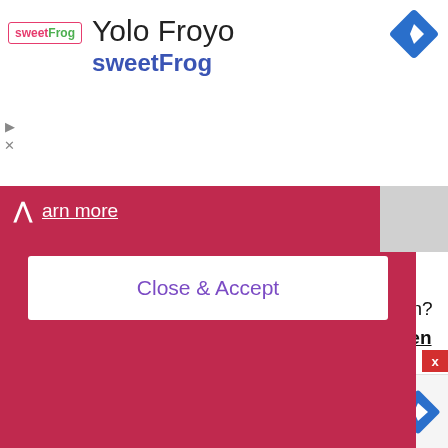[Figure (screenshot): sweetFrog Yolo Froyo advertisement banner with logo, title, and blue navigation diamond icon]
[Figure (screenshot): Cookie consent banner in dark pink/red with 'Learn more' text, chevron-up icon, grey box on right, and 'Close & Accept' white button]
Looking for other Lutong Pinoy Recipes to try on? Feel free to check out our pork recipes, chicken recipes and desserts.
[Figure (screenshot): Red X close button and bottom advertisement banner with red logo icon, 'Browse floor plans or visit a model home today!' text, and blue navigation diamond]